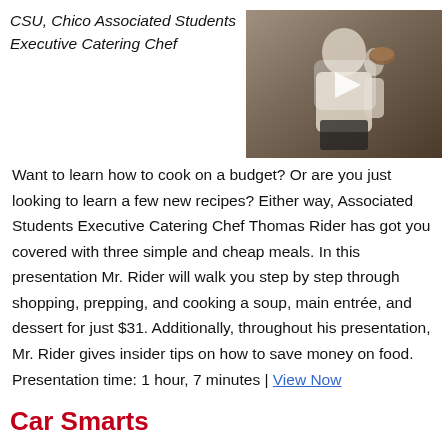CSU, Chico Associated Students Executive Catering Chef
[Figure (photo): A person holding a bowl up, photographed on stage, used as a video thumbnail with a play button overlay]
Want to learn how to cook on a budget? Or are you just looking to learn a few new recipes? Either way, Associated Students Executive Catering Chef Thomas Rider has got you covered with three simple and cheap meals. In this presentation Mr. Rider will walk you step by step through shopping, prepping, and cooking a soup, main entrée, and dessert for just $31. Additionally, throughout his presentation, Mr. Rider gives insider tips on how to save money on food. Presentation time: 1 hour, 7 minutes | View Now
Car Smarts